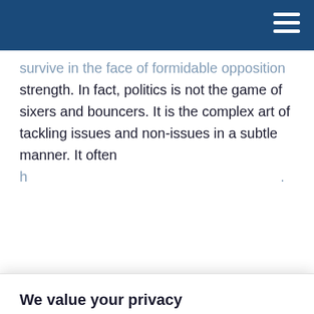[Navigation bar with hamburger menu]
survive in the face of formidable opposition strength. In fact, politics is not the game of sixers and bouncers. It is the complex art of tackling issues and non-issues in a subtle manner. It often
We value your privacy
We use cookies to enhance your browsing experience, serve personalized ads or content, and analyze our traffic. By clicking "Accept All", you consent to our use of cookies.
Accept All | Customize | Reject All